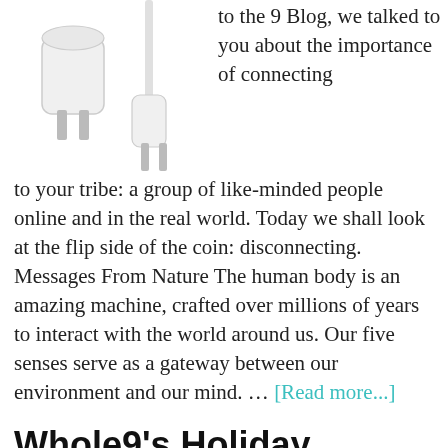[Figure (photo): Two white electrical plugs against a white background — one is a two-prong plug (left) and one appears to be a cable/charger plug (right).]
to the 9 Blog, we talked to you about the importance of connecting to your tribe: a group of like-minded people online and in the real world. Today we shall look at the flip side of the coin: disconnecting. Messages From Nature The human body is an amazing machine, crafted over millions of years to interact with the world around us. Our five senses serve as a gateway between our environment and our mind. … [Read more...]
Whole9's Holiday Simplicity Guide